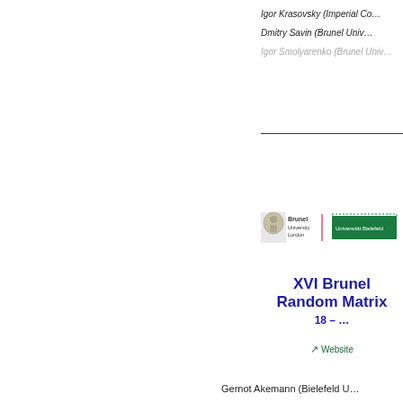Igor Krasovsky (Imperial Co…
Dmitry Savin (Brunel Univ…
Igor Smolyarenko (Brunel Univ…
[Figure (logo): Brunel University London logo and Universität Bielefeld logo side by side]
XVI Brunel Random Matrix 18 –
↗ Website
Gernot Akemann (Bielefeld U…